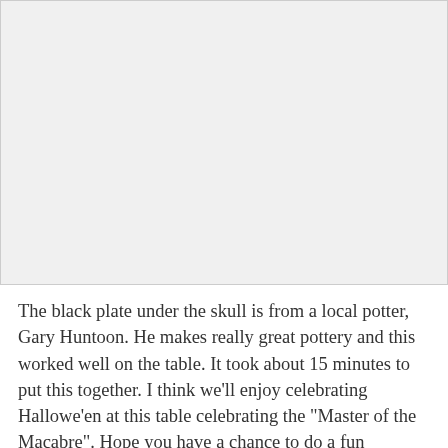[Figure (photo): A photograph placeholder area showing a Halloween table setting with a skull on a black plate]
The black plate under the skull is from a local potter, Gary Huntoon. He makes really great pottery and this worked well on the table. It took about 15 minutes to put this together. I think we’ll enjoy celebrating Hallowe’en at this table celebrating the “Master of the Macabre”. Hope you have a chance to do a fun